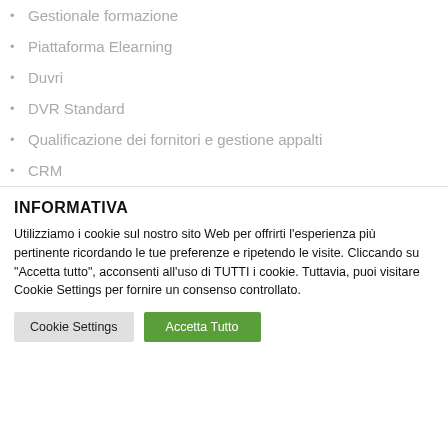Gestionale formazione
Piattaforma Elearning
Duvri
DVR Standard
Qualificazione dei fornitori e gestione appalti
CRM
INFORMATIVA
Utilizziamo i cookie sul nostro sito Web per offrirti l'esperienza più pertinente ricordando le tue preferenze e ripetendo le visite. Cliccando su "Accetta tutto", acconsenti all'uso di TUTTI i cookie. Tuttavia, puoi visitare Cookie Settings per fornire un consenso controllato.
Cookie Settings | Accetta Tutto